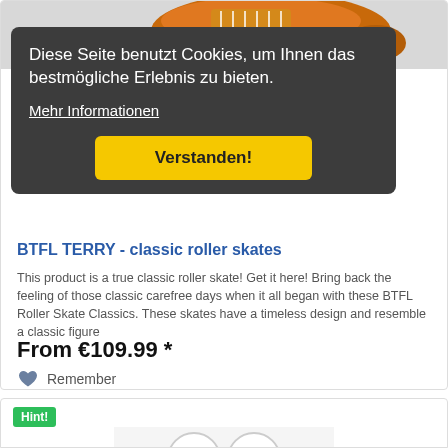[Figure (photo): Orange roller skate shoe photo at top of product card]
Diese Seite benutzt Cookies, um Ihnen das bestmögliche Erlebnis zu bieten.
Mehr Informationen
Verstanden!
BTFL TERRY - classic roller skates
This product is a true classic roller skate! Get it here! Bring back the feeling of those classic carefree days when it all began with these BTFL Roller Skate Classics. These skates have a timeless design and resemble a classic figure
From €109.99 *
Remember
Hint!
[Figure (photo): White roller skate wheels product image at bottom]